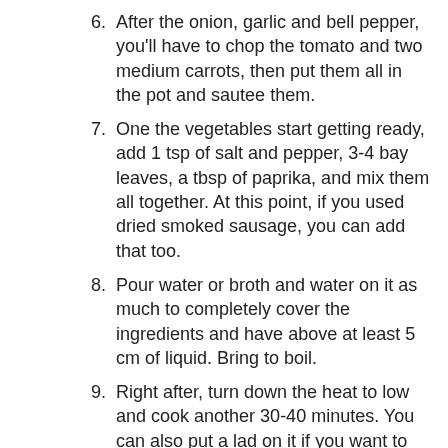After the onion, garlic and bell pepper, you'll have to chop the tomato and two medium carrots, then put them all in the pot and sautee them.
One the vegetables start getting ready, add 1 tsp of salt and pepper, 3-4 bay leaves, a tbsp of paprika, and mix them all together. At this point, if you used dried smoked sausage, you can add that too.
Pour water or broth and water on it as much to completely cover the ingredients and have above at least 5 cm of liquid. Bring to boil.
Right after, turn down the heat to low and cook another 30-40 minutes. You can also put a lad on it if you want to speed up the process.
After 30-40 minutes, if the beef is cooked properly, you can add more water/broth to make sure that it's actually like a soup, and add the beans too.
Cook it for about 10-15 minutes more with the beans, then taste and season it more if needed.